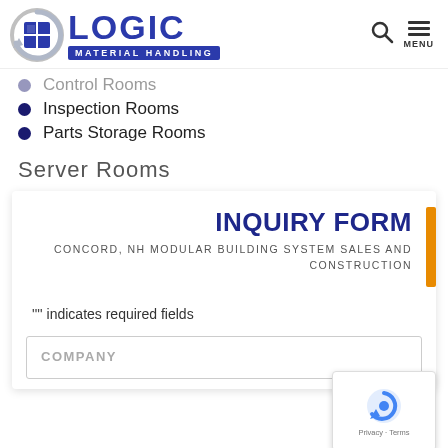LOGIC MATERIAL HANDLING
Control Rooms
Inspection Rooms
Parts Storage Rooms
Server Rooms
INQUIRY FORM
CONCORD, NH MODULAR BUILDING SYSTEM SALES AND CONSTRUCTION
"" indicates required fields
COMPANY